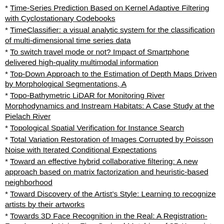Time-Series Prediction Based on Kernel Adaptive Filtering with Cyclostationary Codebooks
TimeClassifier: a visual analytic system for the classification of multi-dimensional time series data
To switch travel mode or not? Impact of Smartphone delivered high-quality multimodal information
Top-Down Approach to the Estimation of Depth Maps Driven by Morphological Segmentations, A
Topo-Bathymetric LiDAR for Monitoring River Morphodynamics and Instream Habitats: A Case Study at the Pielach River
Topological Spatial Verification for Instance Search
Total Variation Restoration of Images Corrupted by Poisson Noise with Iterated Conditional Expectations
Toward an effective hybrid collaborative filtering: A new approach based on matrix factorization and heuristic-based neighborhood
Toward Discovery of the Artist's Style: Learning to recognize artists by their artworks
Towards 3D Face Recognition in the Real: A Registration-Free Approach Using Fine-Grained Matching of 3D Keypoint Descriptors
Towards automatic image analysis and assessment of the multicellular apoptosis process
Towards Cost-Efficient Video Transcoding in Media Cloud: